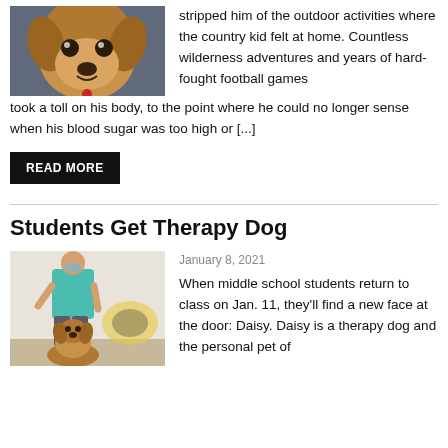[Figure (photo): Close-up photo of a golden/tan dog looking up at the camera with a red collar tag]
stripped him of the outdoor activities where the country kid felt at home. Countless wilderness adventures and years of hard-fought football games took a toll on his body, to the point where he could no longer sense when his blood sugar was too high or [...]
READ MORE
Students Get Therapy Dog
[Figure (photo): Photo of a man in a teal/turquoise polo shirt standing with a golden retriever therapy dog in a school hallway with a bee mascot mural on the wall]
January 8, 2021
When middle school students return to class on Jan. 11, they'll find a new face at the door: Daisy. Daisy is a therapy dog and the personal pet of